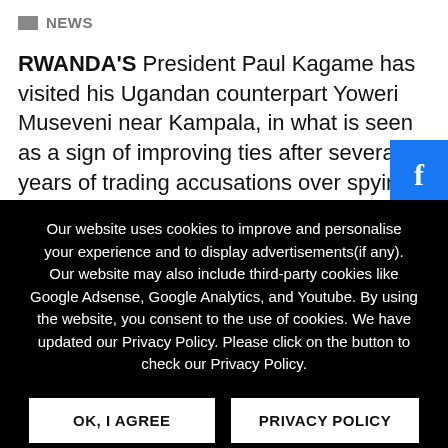NEWS
RWANDA'S President Paul Kagame has visited his Ugandan counterpart Yoweri Museveni near Kampala, in what is seen as a sign of improving ties after several years of trading accusations over spying and supporting dissidents. In January, Rwanda...
Our website uses cookies to improve and personalise your experience and to display advertisements(if any). Our website may also include third-party cookies like Google Adsense, Google Analytics, and Youtube. By using the website, you consent to the use of cookies. We have updated our Privacy Policy. Please click on the button to check our Privacy Policy.
OK, I AGREE
PRIVACY POLICY